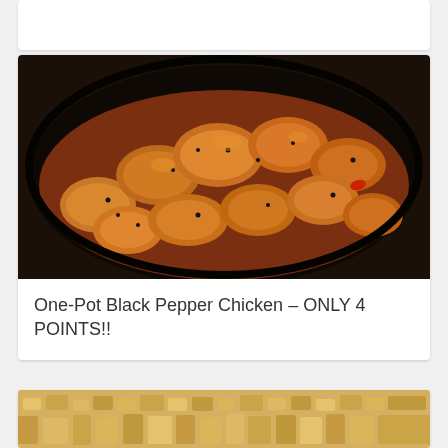[Figure (photo): White card placeholder at top of page]
[Figure (photo): Photo of One-Pot Black Pepper Chicken dish in a dark skillet, showing golden-brown chicken pieces with black pepper sauce]
One-Pot Black Pepper Chicken – ONLY 4 POINTS!!
[Figure (photo): Partial photo at bottom of page showing a casserole or baked dish with a golden crumble topping]